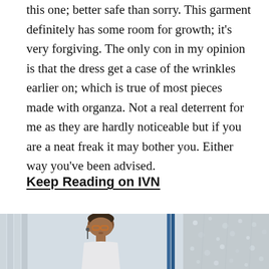this one; better safe than sorry. This garment definitely has some room for growth; it's very forgiving. The only con in my opinion is that the dress get a case of the wrinkles earlier on; which is true of most pieces made with organza. Not a real deterrent for me as they are hardly noticeable but if you are a neat freak it may bother you. Either way you've been advised.
Keep Reading on IVN
[Figure (photo): Two cropped photos side by side: left shows a person with glasses and short hair looking at a screen in a bright office setting; right shows a partial view of a rainy or wet window.]